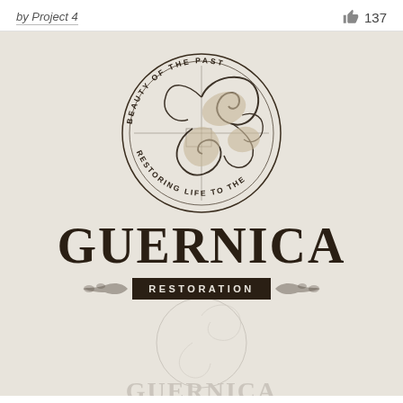by Project 4
137
[Figure (logo): Guernica Restoration logo: ornate circular emblem with acanthus scroll flourish and text 'RESTORING LIFE TO THE BEAUTY OF THE PAST' around the border, above large serif text 'GUERNICA' and a dark banner reading 'RESTORATION'. A faded ghost version of the logo appears below.]